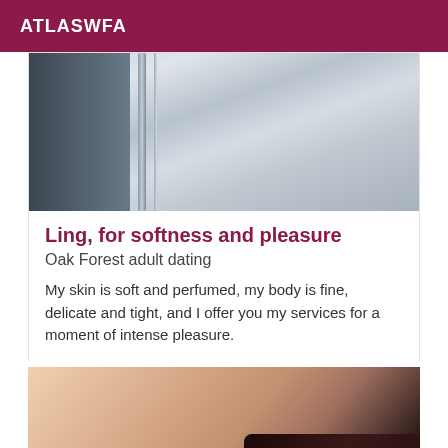ATLASWFA
[Figure (photo): Close-up photo of a metallic elevator door or sliding door with chrome rails, blurred background]
Ling, for softness and pleasure
Oak Forest adult dating
My skin is soft and perfumed, my body is fine, delicate and tight, and I offer you my services for a moment of intense pleasure.
[Figure (photo): Close-up photo of human skin/body with dark lingerie partially visible]